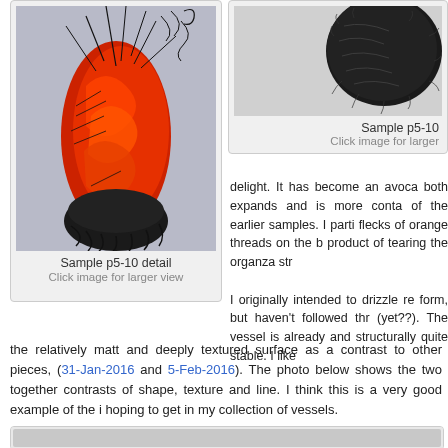[Figure (photo): Close-up detail of Sample p5-10 showing orange/red fabric woven with black wire/thread elements]
Sample p5-10 detail
Click image for larger view
[Figure (photo): Black yarn ball - Sample p5-10]
Sample p5-10
Click image for larger view
delight. It has become an avoca both expands and is more conta of the earlier samples. I parti flecks of orange threads on the b product of tearing the organza str
I originally intended to drizzle re form, but haven't followed thr (yet??). The vessel is already and structurally quite stable. I like the relatively matt and deeply textured surface as a contrast to other pieces, (31-Jan-2016 and 5-Feb-2016). The photo below shows the two together contrasts of shape, texture and line. I think this is a very good example of the i hoping to get in my collection of vessels.
[Figure (photo): Bottom strip showing two vessels together]